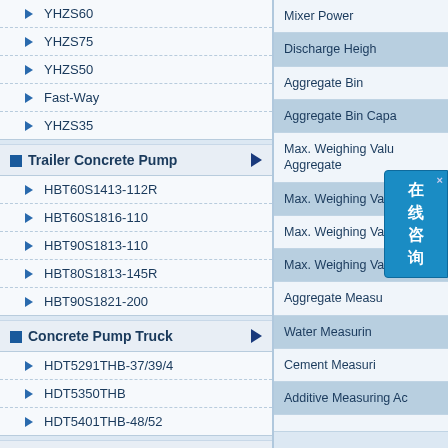YHZS60
YHZS75
YHZS50
Fast-Way
YHZS35
Trailer Concrete Pump
HBT60S1413-112R
HBT60S1816-110
HBT90S1813-110
HBT80S1813-145R
HBT90S1821-200
Concrete Pump Truck
HDT5291THB-37/39/4
HDT5350THB
HDT5401THB-48/52
Containerized Plants
Mixer Power
Discharge Height
Aggregate Bin
Aggregate Bin Capacity
Max. Weighing Value of Aggregate
Max. Weighing Value of
Max. Weighing Value of
Max. Weighing Value of
Aggregate Measuring Accuracy
Water Measuring Accuracy
Cement Measuring Accuracy
Additive Measuring Accuracy